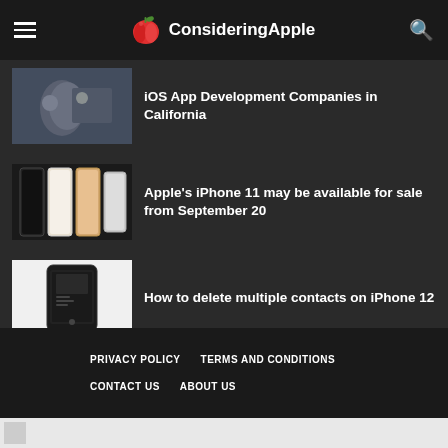ConsideringApple
iOS App Development Companies in California
Apple's iPhone 11 may be available for sale from September 20
How to delete multiple contacts on iPhone 12
Ping iPhone From Apple Watch Not Working: Check These Workarounds
PRIVACY POLICY   TERMS AND CONDITIONS   CONTACT US   ABOUT US